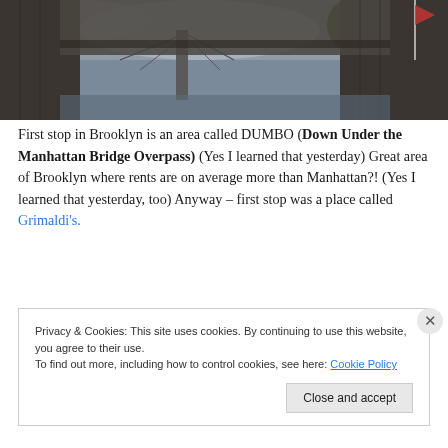[Figure (photo): Photograph taken under the Manhattan Bridge in DUMBO, Brooklyn. The underside of a large stone bridge overpass is visible in the foreground, with the Manhattan Bridge suspension cables visible in the middle background. Trees and a cloudy sky are also visible.]
First stop in Brooklyn is an area called DUMBO (Down Under the Manhattan Bridge Overpass) (Yes I learned that yesterday) Great area of Brooklyn where rents are on average more than Manhattan?! (Yes I learned that yesterday, too) Anyway – first stop was a place called Grimaldi's.
Privacy & Cookies: This site uses cookies. By continuing to use this website, you agree to their use.
To find out more, including how to control cookies, see here: Cookie Policy